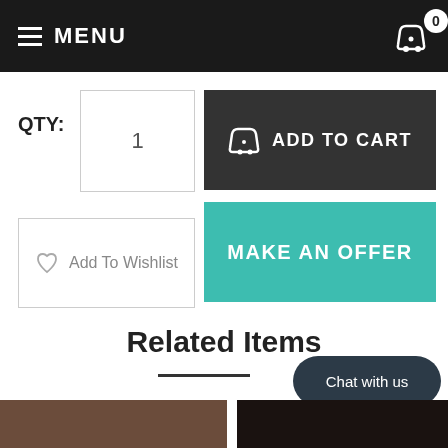MENU
QTY: 1
ADD TO CART
MAKE AN OFFER
Add To Wishlist
Related Items
Chat with us